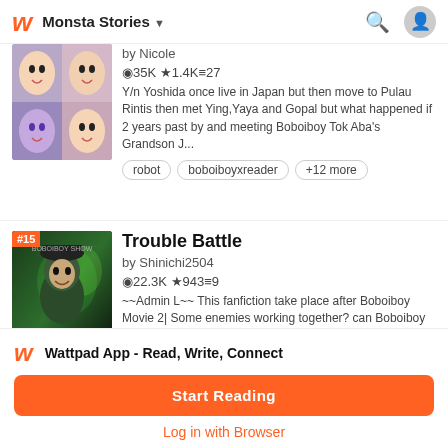Monsta Stories
[Figure (screenshot): Anime-style story thumbnail with multiple characters making expressions]
by Nicole
35K ★1.4K ≡27
Y/n Yoshida once live in Japan but then move to Pulau Rintis then met Ying,Yaya and Gopal but what happened if 2 years past by and meeting Boboiboy Tok Aba's Grandson J...
robot
boboiboyxreader
+12 more
Trouble Battle
[Figure (screenshot): Boboiboy Movie 2 cover image with animated character in dark green outfit, rank badge #15]
by Shinichi2504
22.3K ★943 ≡9
~~Admin L~~ This fanfiction take place after Boboiboy Movie 2| Some enemies working together? can Boboiboy and his friends stop
Wattpad App - Read, Write, Connect
Start Reading
Log in with Browser